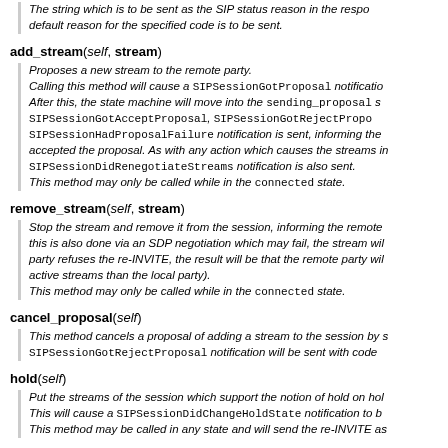The string which is to be sent as the SIP status reason in the response. If not specified, the default reason for the specified code is to be sent.
add_stream(self, stream)
Proposes a new stream to the remote party. Calling this method will cause a SIPSessionGotProposal notification to be sent. After this, the state machine will move into the sending_proposal state. Either a SIPSessionGotAcceptProposal, SIPSessionGotRejectProposal, or SIPSessionHadProposalFailure notification is sent, informing the application of what happened to the proposal after the remote party accepted the proposal. As with any action which causes the streams in the session to change, a SIPSessionDidRenegotiateStreams notification is also sent. This method may only be called while in the connected state.
remove_stream(self, stream)
Stop the stream and remove it from the session, informing the remote party. Note that this is also done via an SDP negotiation which may fail, the stream will however be removed. If the remote party refuses the re-INVITE, the result will be that the remote party will have a different view of the active streams than the local party). This method may only be called while in the connected state.
cancel_proposal(self)
This method cancels a proposal of adding a stream to the session by sending a re-INVITE. A SIPSessionGotRejectProposal notification will be sent with code 0 and reason " ".
hold(self)
Put the streams of the session which support the notion of hold on hold. This will cause a SIPSessionDidChangeHoldState notification to be sent. This method may be called in any state and will send the re-INVITE as soon as the session is connected.